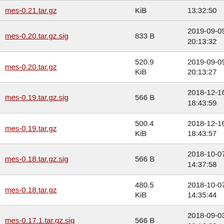| Name | Size | Date |
| --- | --- | --- |
| mes-0.21.tar.gz | KiB | 2019-...
13:32:50 |
| mes-0.20.tar.gz.sig | 833 B | 2019-09-09
20:13:32 |
| mes-0.20.tar.gz | 520.9 KiB | 2019-09-09
20:13:27 |
| mes-0.19.tar.gz.sig | 566 B | 2018-12-16
18:43:59 |
| mes-0.19.tar.gz | 500.4 KiB | 2018-12-16
18:43:57 |
| mes-0.18.tar.gz.sig | 566 B | 2018-10-07
14:37:58 |
| mes-0.18.tar.gz | 480.5 KiB | 2018-10-07
14:35:44 |
| mes-0.17.1.tar.gz.sig | 566 B | 2018-09-03
20:16:32 |
| mes-0.17.1.tar.gz | 455.1 KiB | 2018-09-03
20:16:19 |
| mes-0.17.tar.gz.sig | 566 B | 2018-08-26
14:09:44 |
| mes-0.17.tar.gz | 436.2 KiB | 2018-08-26
14:09:41 |